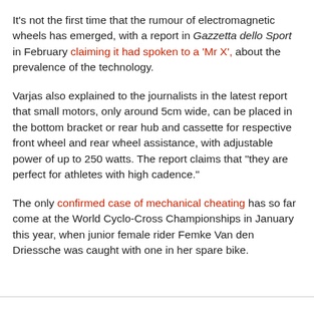It's not the first time that the rumour of electromagnetic wheels has emerged, with a report in Gazzetta dello Sport in February claiming it had spoken to a 'Mr X', about the prevalence of the technology.
Varjas also explained to the journalists in the latest report that small motors, only around 5cm wide, can be placed in the bottom bracket or rear hub and cassette for respective front wheel and rear wheel assistance, with adjustable power of up to 250 watts. The report claims that "they are perfect for athletes with high cadence."
The only confirmed case of mechanical cheating has so far come at the World Cyclo-Cross Championships in January this year, when junior female rider Femke Van den Driessche was caught with one in her spare bike.